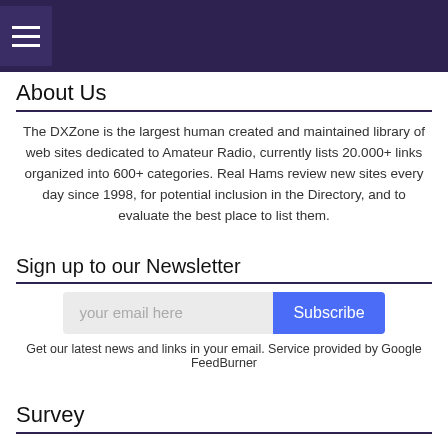About Us
The DXZone is the largest human created and maintained library of web sites dedicated to Amateur Radio, currently lists 20.000+ links organized into 600+ categories. Real Hams review new sites every day since 1998, for potential inclusion in the Directory, and to evaluate the best place to list them.
Sign up to our Newsletter
your email here
Subscribe
Get our latest news and links in your email. Service provided by Google FeedBurner
Survey